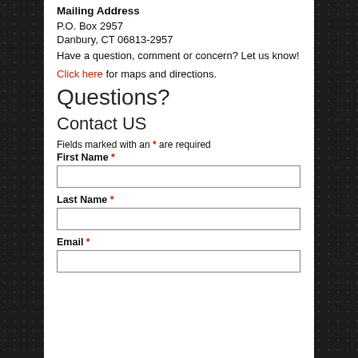Mailing Address
P.O. Box 2957
Danbury, CT 06813-2957
Have a question, comment or concern? Let us know!
Click here for maps and directions.
Questions?
Contact US
Fields marked with an * are required
First Name *
Last Name *
Email *